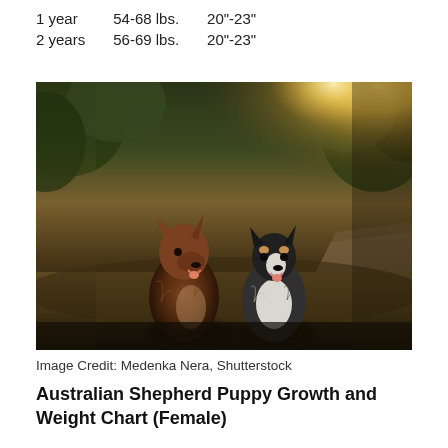| 1 year | 54-68 lbs. | 20"-23" |
| 2 years | 56-69 lbs. | 20"-23" |
[Figure (photo): Two Australian Shepherd dogs sitting outdoors on a dirt path with trees and golden sunlight in the background.]
Image Credit: Medenka Nera, Shutterstock
Australian Shepherd Puppy Growth and Weight Chart (Female)